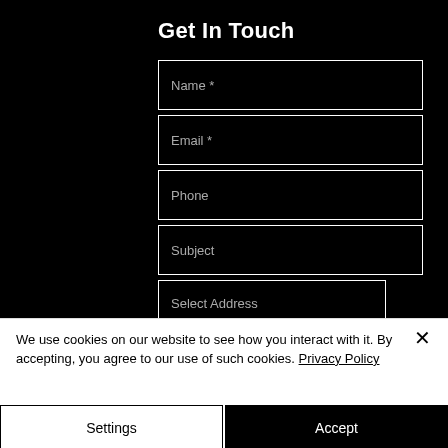Get In Touch
[Figure (screenshot): Contact form with fields: Name *, Email *, Phone, Subject, and Select Address dropdown on black background]
We use cookies on our website to see how you interact with it. By accepting, you agree to our use of such cookies. Privacy Policy
Settings
Accept